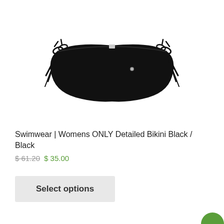[Figure (photo): Black bikini bottom with side ties, displayed on white background]
Swimwear | Womens ONLY Detailed Bikini Black / Black
$ 61.20 $ 35.00
Select options